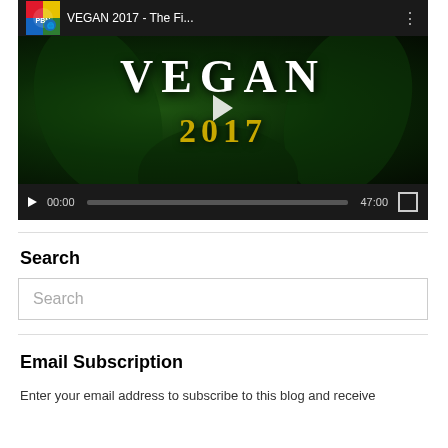[Figure (screenshot): YouTube-style video player showing 'VEGAN 2017 - The Fi...' with a dark green thumbnail displaying VEGAN in white serif text and 2017 in yellow, with playback controls showing 00:00 / 47:00]
Search
Search
Email Subscription
Enter your email address to subscribe to this blog and receive